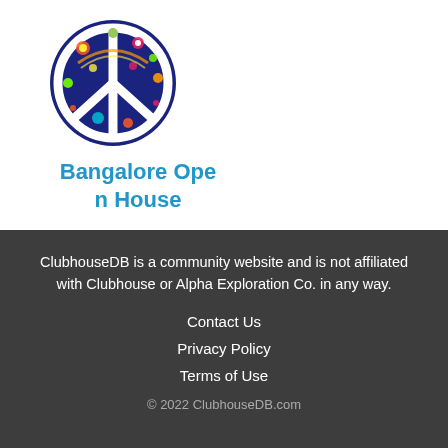[Figure (logo): Colorful floral peace sign logo on dark blue circular background]
Bangalore Open House
ClubhouseDB is a community website and is not affiliated with Clubhouse or Alpha Exploration Co. in any way.
Contact Us
Privacy Policy
Terms of Use
© 2022 ClubhouseDB.com